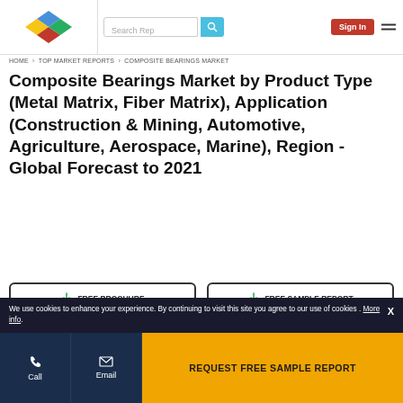Search Rep | Sign In | [menu]
HOME › TOP MARKET REPORTS › COMPOSITE BEARINGS MARKET
Composite Bearings Market by Product Type (Metal Matrix, Fiber Matrix), Application (Construction & Mining, Automotive, Agriculture, Aerospace, Marine), Region - Global Forecast to 2021
FREE BROCHURE
FREE SAMPLE REPORT
Report Code: CH 5052Feb, 2017, by marketsandmarkets.com
We use cookies to enhance your experience. By continuing to visit this site you agree to our use of cookies . More info.
Call | Email | REQUEST FREE SAMPLE REPORT